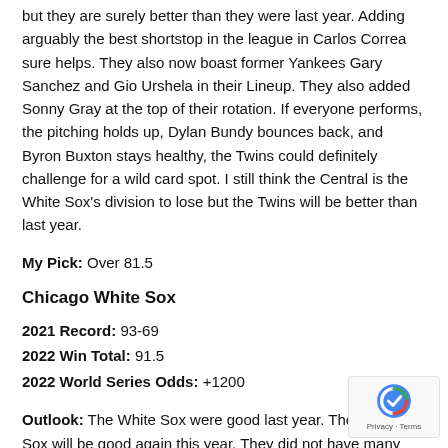but they are surely better than they were last year. Adding arguably the best shortstop in the league in Carlos Correa sure helps. They also now boast former Yankees Gary Sanchez and Gio Urshela in their Lineup. They also added Sonny Gray at the top of their rotation. If everyone performs, the pitching holds up, Dylan Bundy bounces back, and Byron Buxton stays healthy, the Twins could definitely challenge for a wild card spot. I still think the Central is the White Sox's division to lose but the Twins will be better than last year.
My Pick: Over 81.5
Chicago White Sox
2021 Record: 93-69
2022 Win Total: 91.5
2022 World Series Odds: +1200
Outlook: The White Sox were good last year. The White Sox will be good again this year. They did not have many holes to fill this offseason and therefore had a pretty underwhelming offseason. The White Sox still boast one of the best hitters in the league in Jose Abreu and have the ever-exciting Mich Kopech transitioning back to the rotation. This team did